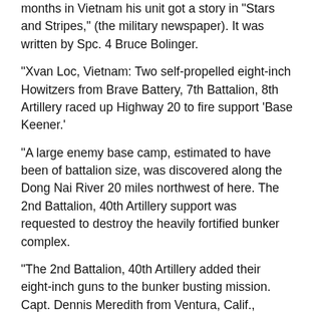months in Vietnam his unit got a story in "Stars and Stripes," (the military newspaper). It was written by Spc. 4 Bruce Bolinger.
"Xvan Loc, Vietnam: Two self-propelled eight-inch Howitzers from Brave Battery, 7th Battalion, 8th Artillery raced up Highway 20 to fire support ‘Base Keener.’
"A large enemy base camp, estimated to have been of battalion size, was discovered along the Dong Nai River 20 miles northwest of here. The 2nd Battalion, 40th Artillery support was requested to destroy the heavily fortified bunker complex.
"The 2nd Battalion, 40th Artillery added their eight-inch guns to the bunker busting mission. Capt. Dennis Meredith from Ventura, Calif., commander of Bravo Battery responded."
"We set up and began firing late in the afternoon of the 23, Aug. 1969," 2nd Lt. John McKethen of Powell, Wy. said. "By 2 p.m. of the 24th we had received reports of at least four secondary explosions.